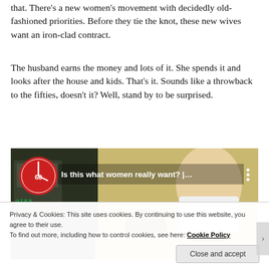that. There's a new women's movement with decidedly old-fashioned priorities. Before they tie the knot, these new wives want an iron-clad contract.
The husband earns the money and lots of it. She spends it and looks after the house and kids. That's it. Sounds like a throwback to the fifties, doesn't it? Well, stand by to be surprised.
[Figure (screenshot): Embedded video player thumbnail showing a woman in a kitchen with children. Video title reads 'Is this what women really want? |…' with 60 Minutes logo.]
Privacy & Cookies: This site uses cookies. By continuing to use this website, you agree to their use.
To find out more, including how to control cookies, see here: Cookie Policy